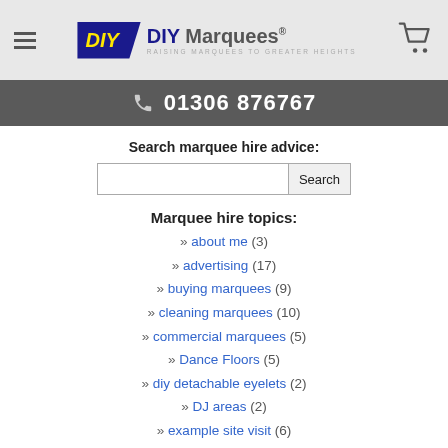DIY Marquees — RAISING MARQUEES TO GREATER HEIGHTS
01306 876767
Search marquee hire advice:
Marquee hire topics:
» about me (3)
» advertising (17)
» buying marquees (9)
» cleaning marquees (10)
» commercial marquees (5)
» Dance Floors (5)
» diy detachable eyelets (2)
» DJ areas (2)
» example site visit (6)
» generators (2)
» health and safety (9)
» insurance (4)